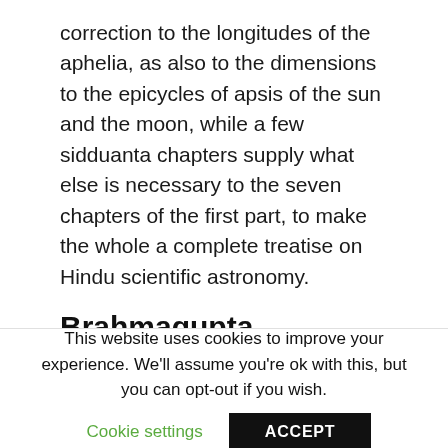correction to the longitudes of the aphelia, as also to the dimensions to the epicycles of apsis of the sun and the moon, while a few sidduanta chapters supply what else is necessary to the seven chapters of the first part, to make the whole a complete treatise on Hindu scientific astronomy.
Brahmagupta
The kingdom of Bhillamala seems to have been
This website uses cookies to improve your experience. We'll assume you're ok with this, but you can opt-out if you wish.